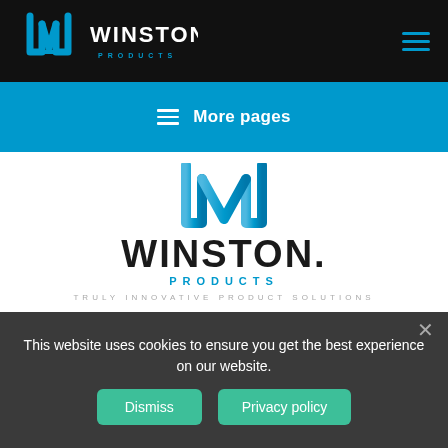[Figure (logo): Winston Products logo in white/blue on black header bar, with hamburger menu icon]
[Figure (screenshot): Blue banner with hamburger icon and 'More pages' text in white]
[Figure (logo): Winston Products large logo with W icon in blue, WINSTON. in dark, PRODUCTS in blue, tagline TRULY INNOVATIVE PRODUCT SOLUTIONS in grey]
This website uses cookies to ensure you get the best experience on our website.
Dismiss  Privacy policy